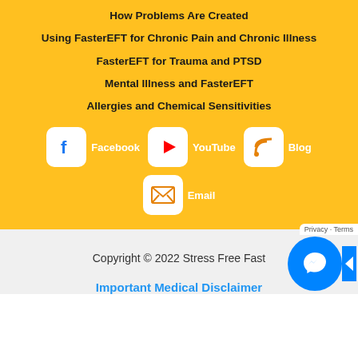How Problems Are Created
Using FasterEFT for Chronic Pain and Chronic Illness
FasterEFT for Trauma and PTSD
Mental Illness and FasterEFT
Allergies and Chemical Sensitivities
[Figure (infographic): Social media icons row: Facebook, YouTube, Blog icons with labels, and Email icon below center, all on yellow background with white rounded square icons]
Copyright © 2022 Stress Free Fast
Important Medical Disclaimer
[Figure (other): Facebook Messenger chat widget button (blue circle) with Privacy - Terms bar]